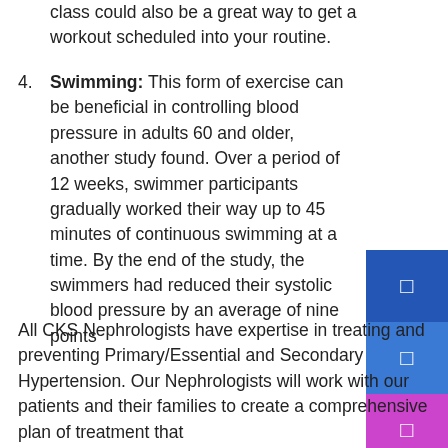class could also be a great way to get a workout scheduled into your routine.
4. Swimming: This form of exercise can be beneficial in controlling blood pressure in adults 60 and older, another study found. Over a period of 12 weeks, swimmer participants gradually worked their way up to 45 minutes of continuous swimming at a time. By the end of the study, the swimmers had reduced their systolic blood pressure by an average of nine points
5. Brisk walking. You'll have to walk faster than you normally walk to elevate your heart and break
All CKS Nephrologists have expertise in treating and preventing Primary/Essential and Secondary Hypertension. Our Nephrologists will work with our patients and their families to create a comprehensive plan of treatment that